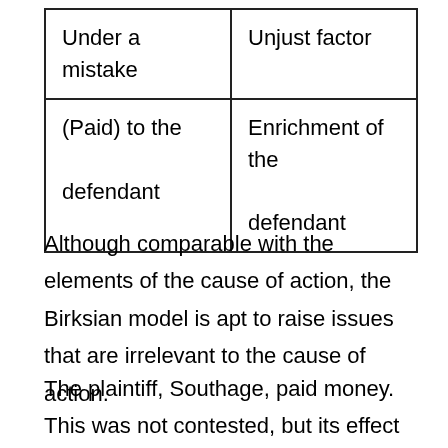| Under a mistake | Unjust factor |
| (Paid) to the defendant | Enrichment of the defendant |
Although comparable with the elements of the cause of action, the Birksian model is apt to raise issues that are irrelevant to the cause of action.
The plaintiff, Southage, paid money. This was not contested, but its effect was.